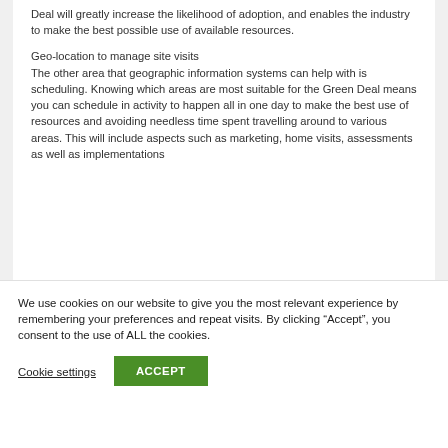Deal will greatly increase the likelihood of adoption, and enables the industry to make the best possible use of available resources.
Geo-location to manage site visits
The other area that geographic information systems can help with is scheduling. Knowing which areas are most suitable for the Green Deal means you can schedule in activity to happen all in one day to make the best use of resources and avoiding needless time spent travelling around to various areas. This will include aspects such as marketing, home visits, assessments as well as implementations
We use cookies on our website to give you the most relevant experience by remembering your preferences and repeat visits. By clicking “Accept”, you consent to the use of ALL the cookies.
Cookie settings
ACCEPT